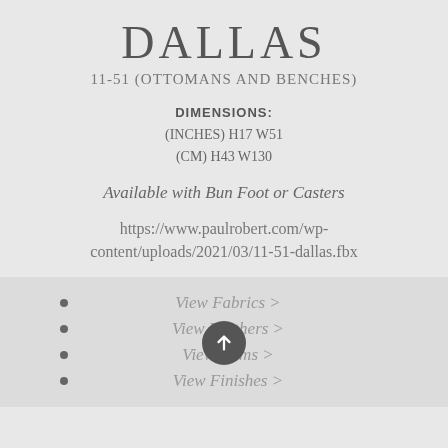DALLAS
11-51 (OTTOMANS AND BENCHES)
DIMENSIONS:
(INCHES) H17 W51
(CM) H43 W130
Available with Bun Foot or Casters
https://www.paulrobert.com/wp-content/uploads/2021/03/11-51-dallas.fbx
View Fabrics >
View Leathers >
View Trims >
View Finishes >